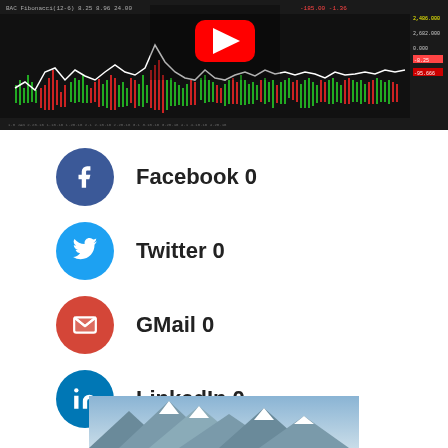[Figure (screenshot): Trading chart screenshot with YouTube play button overlay showing financial/stock chart with candlesticks, green and red bars, white line overlay on dark background]
Facebook  0
Twitter  0
GMail  0
LinkedIn  0
[Figure (photo): Mountain landscape photo, partially visible at bottom of page]